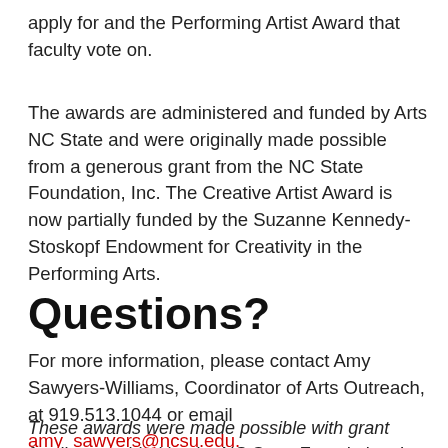apply for and the Performing Artist Award that faculty vote on.
The awards are administered and funded by Arts NC State and were originally made possible from a generous grant from the NC State Foundation, Inc. The Creative Artist Award is now partially funded by the Suzanne Kennedy-Stoskopf Endowment for Creativity in the Performing Arts.
Questions?
For more information, please contact Amy Sawyers-Williams, Coordinator of Arts Outreach, at 919.513.1044 or email amy_sawyers@ncsu.edu.
These awards were made possible with grant funding provided by the NC State Foundation, Inc.